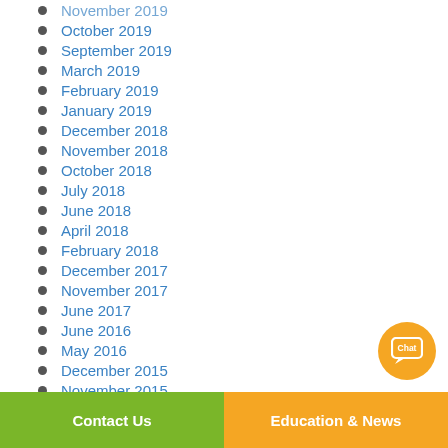November 2019
October 2019
September 2019
March 2019
February 2019
January 2019
December 2018
November 2018
October 2018
July 2018
June 2018
April 2018
February 2018
December 2017
November 2017
June 2017
June 2016
May 2016
December 2015
November 2015
October 2015
Contact Us | Education & News